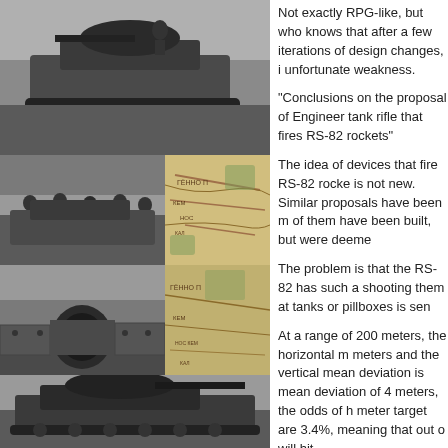[Figure (photo): Black and white photo of a tank in a field with vegetation]
[Figure (photo): Black and white photo of soldiers with equipment]
[Figure (photo): Colorized or partial-color map fragment]
[Figure (photo): Black and white photo of a tank gun barrel close-up]
[Figure (photo): Black and white photo of a tank from below/side]
Not exactly RPG-like, but who knows that after a few iterations of design changes, i unfortunate weakness.
"Conclusions on the proposal of Engineer tank rifle that fires RS-82 rockets"
The idea of devices that fire RS-82 rocke is not new. Similar proposals have been m of them have been built, but were deeme
The problem is that the RS-82 has such a shooting them at tanks or pillboxes is sen
At a range of 200 meters, the horizontal m meters and the vertical mean deviation is mean deviation of 4 meters, the odds of h meter target are 3.4%, meaning that out o will hit.
Because of this, comrade Mill's device is
Chief of the 2nd Department of the GUVG